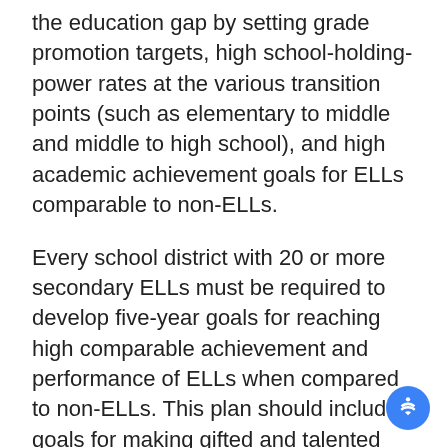the education gap by setting grade promotion targets, high school-holding-power rates at the various transition points (such as elementary to middle and middle to high school), and high academic achievement goals for ELLs comparable to non-ELLs.
Every school district with 20 or more secondary ELLs must be required to develop five-year goals for reaching high comparable achievement and performance of ELLs when compared to non-ELLs. This plan should include goals for making gifted and talented and advanced placement programs available to ELLs and, if ELLs are over-represented in special education, goals for addressing this issue within the year. Every